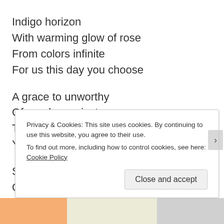Indigo horizon
With warming glow of rose
From colors infinite
For us this day you choose

A grace to unworthy
Of purples majesty
The royal lineage
You offer unto thee

Spirit of rejoicing
Of pinks color you chose
Privacy & Cookies: This site uses cookies. By continuing to use this website, you agree to their use.
To find out more, including how to control cookies, see here: Cookie Policy
Close and accept